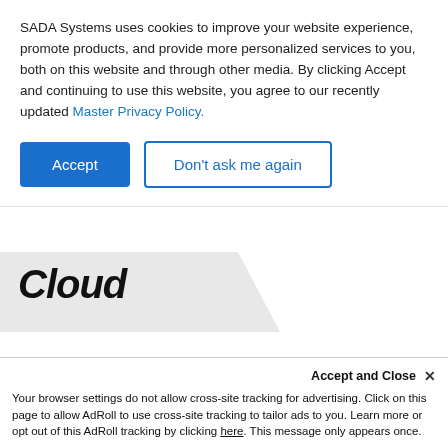SADA Systems uses cookies to improve your website experience, promote products, and provide more personalized services to you, both on this website and through other media. By clicking Accept and continuing to use this website, you agree to our recently updated Master Privacy Policy.
[Figure (screenshot): Two buttons: a blue filled 'Accept' button and a blue outlined 'Don't ask me again' button]
Cloud
[Figure (illustration): Three blue circular social media icons: Facebook (f), Twitter (bird), LinkedIn (in)]
[Figure (illustration): Partially visible author avatar (dark circular image, bottom cut off)]
Accept and Close ✕
Your browser settings do not allow cross-site tracking for advertising. Click on this page to allow AdRoll to use cross-site tracking to tailor ads to you. Learn more or opt out of this AdRoll tracking by clicking here. This message only appears once.